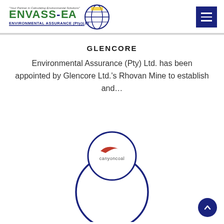[Figure (logo): ENVASS-EA Environmental Assurance (Pty) Ltd logo with green and yellow text and globe icon]
GLENCORE
Environmental Assurance (Pty) Ltd. has been appointed by Glencore Ltd.'s Rhovan Mine to establish and…
[Figure (illustration): Two overlapping circles in navy blue outline forming a figure-eight or snowman shape. The top smaller circle contains a canyoncoal logo (red swoosh shape above the text 'canyoncoal'). The bottom larger circle is empty white.]